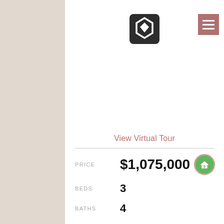[Figure (logo): App logo: dark rounded square with hexagon bolt/nut icon]
[Figure (other): Hamburger menu button (3 horizontal lines) on rose/mauve background]
View Virtual Tour
PRICE $1,075,000
BEDS 3
BATHS 4
HOME SIZE 2,600 sqft